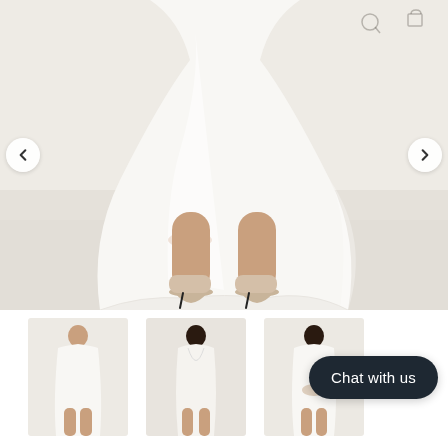[Figure (photo): Main product photo showing lower body of a woman wearing a white flowy midi dress and beige pointed-toe heels, on a light neutral background. Navigation arrows on left and right sides. Watermark text partially visible at top.]
[Figure (photo): Thumbnail 1: Full-length front view of woman in white dress]
[Figure (photo): Thumbnail 2: Side/back view of woman in white dress]
[Figure (photo): Thumbnail 3: Front view of woman in white dress with hands folded]
Chat with us